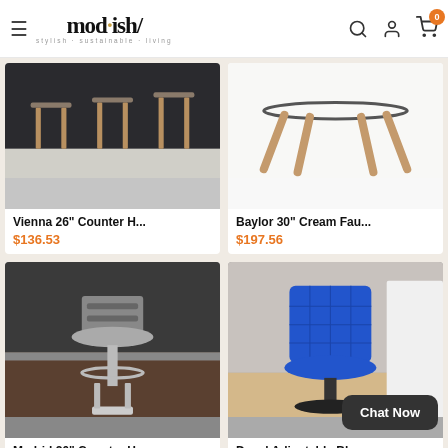mod·ish/ stylish·sustainable·living
[Figure (photo): Vienna 26" Counter Height bar stools with wooden legs in a dark kitchen setting]
Vienna 26" Counter H...
$136.53
[Figure (photo): Baylor 30" Cream Faux leather bar stool base with walnut legs on white background]
Baylor 30" Cream Fau...
$197.56
[Figure (photo): Madrid 26" Counter Height swivel bar stool with gray upholstery and silver metal frame in kitchen]
Madrid 26" Counter H...
$310.86
[Figure (photo): Duval Adjustable Bar stool with blue diamond-quilted upholstery and black base]
Duval Adjustable Bl...
From $108.10
Chat Now